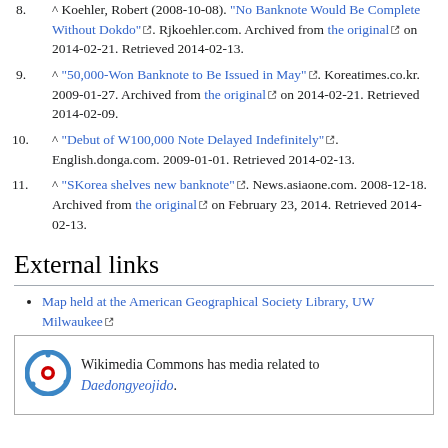8. ^ Koehler, Robert (2008-10-08). "No Banknote Would Be Complete Without Dokdo". Rjkoehler.com. Archived from the original on 2014-02-21. Retrieved 2014-02-13.
9. ^ "50,000-Won Banknote to Be Issued in May". Koreatimes.co.kr. 2009-01-27. Archived from the original on 2014-02-21. Retrieved 2014-02-09.
10. ^ "Debut of W100,000 Note Delayed Indefinitely". English.donga.com. 2009-01-01. Retrieved 2014-02-13.
11. ^ "SKorea shelves new banknote". News.asiaone.com. 2008-12-18. Archived from the original on February 23, 2014. Retrieved 2014-02-13.
External links
Map held at the American Geographical Society Library, UW Milwaukee
Wikimedia Commons has media related to Daedongyeojido.